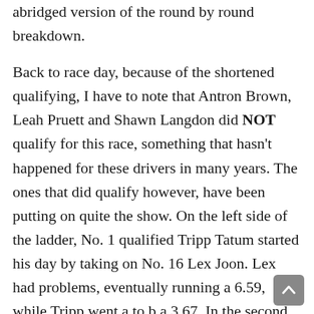abridged version of the round by round breakdown. Back to race day, because of the shortened qualifying, I have to note that Antron Brown, Leah Pruett and Shawn Langdon did NOT qualify for this race, something that hasn't happened for these drivers in many years. The ones that did qualify however, have been putting on quite the show. On the left side of the ladder, No. 1 qualified Tripp Tatum started his day by taking on No. 16 Lex Joon. Lex had problems, eventually running a 6.59, while Tripp went a to b a 3.67. In the second round he took on the tough Billy Torrence. It was a really good, really close race, but with a 3.72 to a 3.74, Tripp was into the semifinals. His semifinal matchup was against most recent race winner, Mike Salinas. Mike had problems almost